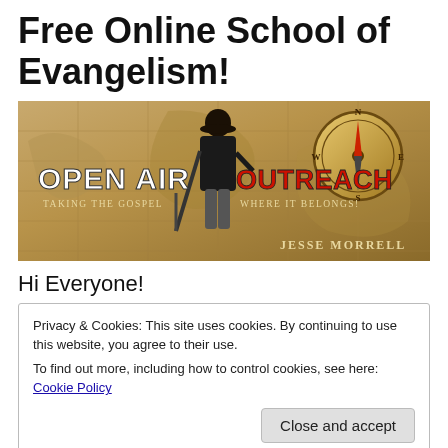Free Online School of Evangelism!
[Figure (illustration): Banner image for 'Open Air Outreach - Taking the Gospel Where it Belongs!' by Jesse Morrell, featuring a man in vintage clothing standing on an old map background with a compass, bold white and red text.]
Hi Everyone!
Privacy & Cookies: This site uses cookies. By continuing to use this website, you agree to their use.
To find out more, including how to control cookies, see here: Cookie Policy
winning!